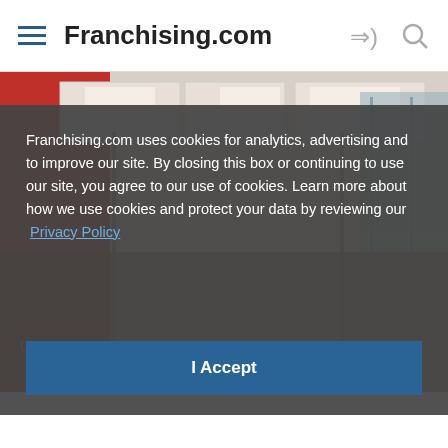Franchising.com
[Figure (photo): Interior office space with red accent wall, ceiling tiles, lighting fixtures, and glass partitions visible in the background.]
Franchising.com uses cookies for analytics, advertising and to improve our site. By closing this box or continuing to use our site, you agree to our use of cookies. Learn more about how we use cookies and protect your data by reviewing our Privacy Policy
I Accept